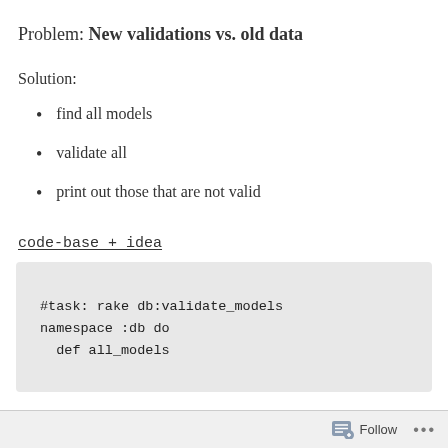Problem: New validations vs. old data
Solution:
find all models
validate all
print out those that are not valid
code-base + idea
#task: rake db:validate_models
namespace :db do
  def all_models